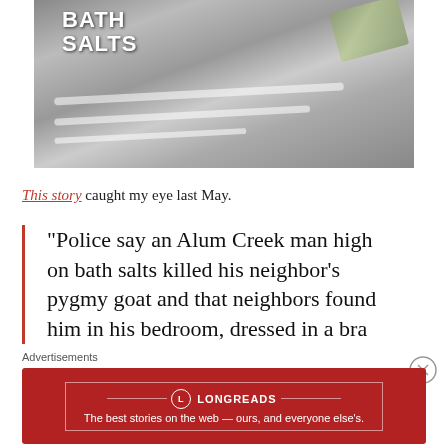[Figure (photo): Photo of a bath salts container with lines of white powder on a surface and a rolled dollar bill]
This story caught my eye last May.
“Police say an Alum Creek man high on bath salts killed his neighbor’s pygmy goat and that neighbors found him in his bedroom, dressed in a bra
Advertisements
[Figure (infographic): Longreads advertisement banner: The best stories on the web — ours, and everyone else’s.]